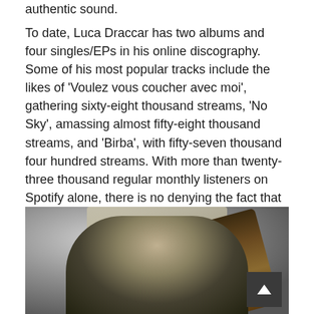authentic sound.
To date, Luca Draccar has two albums and four singles/EPs in his online discography. Some of his most popular tracks include the likes of 'Voulez vous coucher avec moi', gathering sixty-eight thousand streams, 'No Sky', amassing almost fifty-eight thousand streams, and 'Birba', with fifty-seven thousand four hundred streams. With more than twenty-three thousand regular monthly listeners on Spotify alone, there is no denying the fact that Luca Draccar has developed a dedicated following of loyal fans.
[Figure (photo): Black and white photo of Luca Draccar, a musician with light hair, holding a guitar. A decorative mirror is visible in the background.]